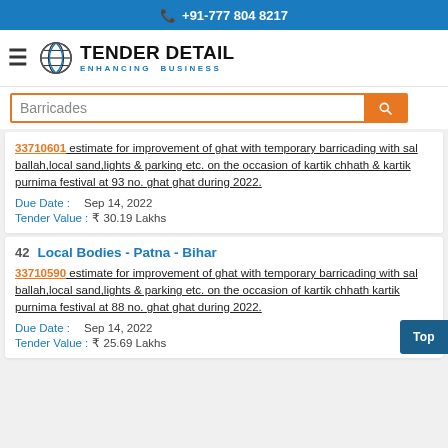+91-777 804 8217
[Figure (logo): Tender Detail logo with globe icon and tagline ENHANCING BUSINESS]
Barricades (search input)
33710601 estimate for improvement of ghat with temporary barricading with sal ballah,local sand,lights & parking etc. on the occasion of kartik chhath & kartik purnima festival at 93 no. ghat ghat during 2022.
Due Date : Sep 14, 2022
Tender Value : ₹ 30.19 Lakhs
42 Local Bodies - Patna - Bihar
33710590 estimate for improvement of ghat with temporary barricading with sal ballah,local sand,lights & parking etc. on the occasion of kartik chhath kartik purnima festival at 88 no. ghat ghat during 2022.
Due Date : Sep 14, 2022
Tender Value : ₹ 25.69 Lakhs